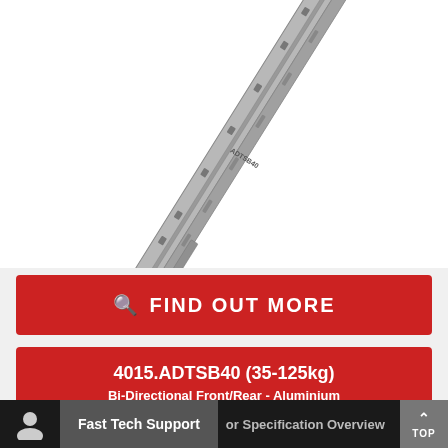[Figure (photo): Diagonal product photo of a heavy-duty aluminium bi-directional slide rail (4015.ADTSB40) shown at an angle against a white background. The rail is grey/silver aluminium with mounting holes and slots along its length.]
FIND OUT MORE
4015.ADTSB40 (35-125kg)
Bi-Directional Front/Rear - Aluminium
Fast Tech Support
or Specification Overview
TOP